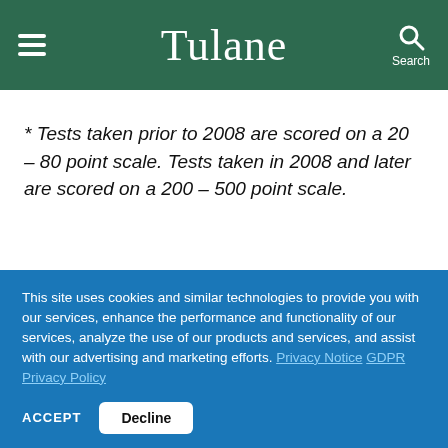Tulane
* Tests taken prior to 2008 are scored on a 20 – 80 point scale. Tests taken in 2008 and later are scored on a 200 – 500 point scale.
This site uses cookies and similar technologies to provide you with our services, enhance the performance and functionality of our services, analyze the use of our products and services, and assist with our advertising and marketing efforts. Privacy Notice GDPR Privacy Policy